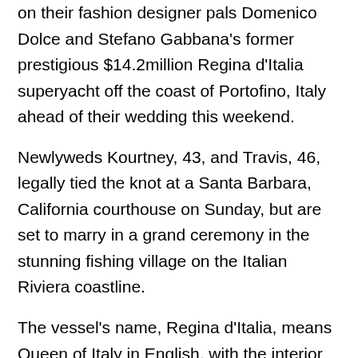on their fashion designer pals Domenico Dolce and Stefano Gabbana's former prestigious $14.2million Regina d'Italia superyacht off the coast of Portofino, Italy ahead of their wedding this weekend.
Newlyweds Kourtney, 43, and Travis, 46, legally tied the knot at a Santa Barbara, California courthouse on Sunday, but are set to marry in a grand ceremony in the stunning fishing village on the Italian Riviera coastline.
The vessel's name, Regina d'Italia, means Queen of Italy in English, with the interior of the boat striking an impressive balance between flamboyance and minimalism.